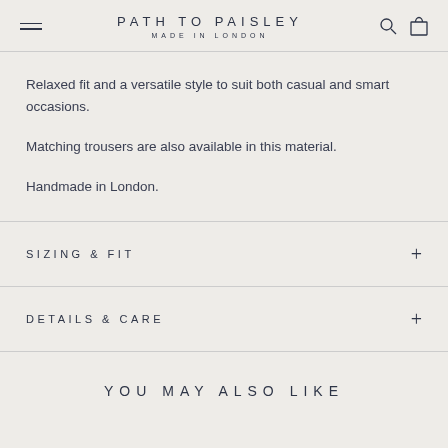PATH TO PAISLEY MADE IN LONDON
Relaxed fit and a versatile style to suit both casual and smart occasions.
Matching trousers are also available in this material.
Handmade in London.
SIZING & FIT
DETAILS & CARE
YOU MAY ALSO LIKE